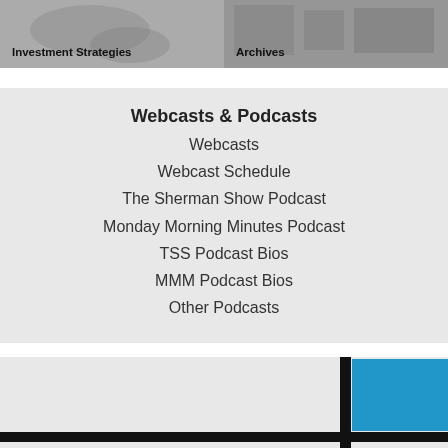[Figure (photo): Investment Strategies image with text label overlay]
[Figure (photo): Archives image with text label overlay]
Webcasts & Podcasts
Webcasts
Webcast Schedule
The Sherman Show Podcast
Monday Morning Minutes Podcast
TSS Podcast Bios
MMM Podcast Bios
Other Podcasts
[Figure (illustration): Mondrian-style geometric design with black lines and blue rectangle in the bottom-right area]